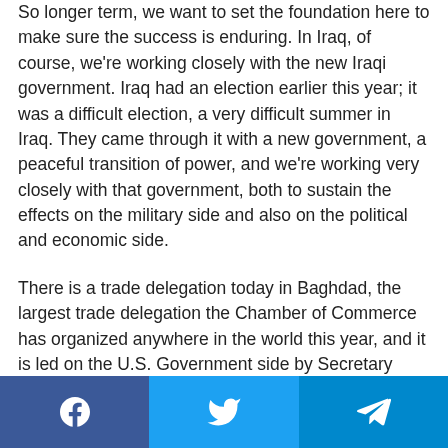So longer term, we want to set the foundation here to make sure the success is enduring. In Iraq, of course, we're working closely with the new Iraqi government. Iraq had an election earlier this year; it was a difficult election, a very difficult summer in Iraq. They came through it with a new government, a peaceful transition of power, and we're working very closely with that government, both to sustain the effects on the military side and also on the political and economic side.
There is a trade delegation today in Baghdad, the largest trade delegation the Chamber of Commerce has organized anywhere in the world this year, and it is led on the U.S. Government side by Secretary Perry and also our Deputy Assistant Secretary for
[Figure (infographic): Social sharing bar with Facebook, Twitter, and Telegram buttons]